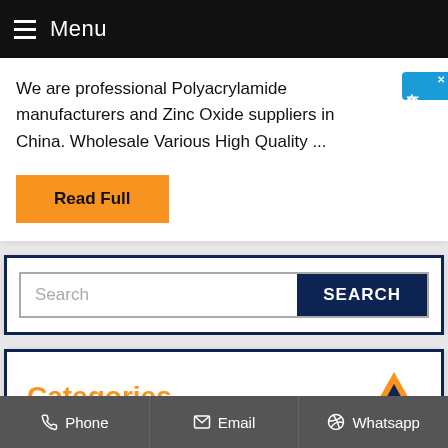Menu
We are professional Polyacrylamide manufacturers and Zinc Oxide suppliers in China. Wholesale Various High Quality ...
Read Full
[Figure (other): Chinese live chat widget with blue background and text '在线咨询']
Search
Categories
Phone   Email   Whatsapp